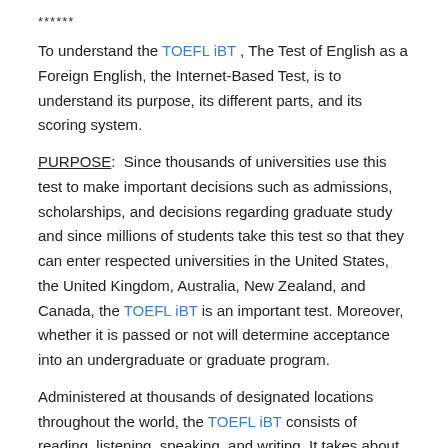******
To understand the TOEFL iBT , The Test of English as a Foreign English, the Internet-Based Test, is to understand its purpose, its different parts, and its scoring system.
PURPOSE:  Since thousands of universities use this test to make important decisions such as admissions, scholarships, and decisions regarding graduate study and since millions of students take this test so that they can enter respected universities in the United States, the United Kingdom, Australia, New Zealand, and Canada, the TOEFL iBT is an important test. Moreover, whether it is passed or not will determine acceptance into an undergraduate or graduate program.
Administered at thousands of designated locations throughout the world, the TOEFL iBT consists of reading, listening, speaking, and writing. It takes about 4 1/2 hours to complete, and a 10 minute break is given after the listening section. The cost is approximately